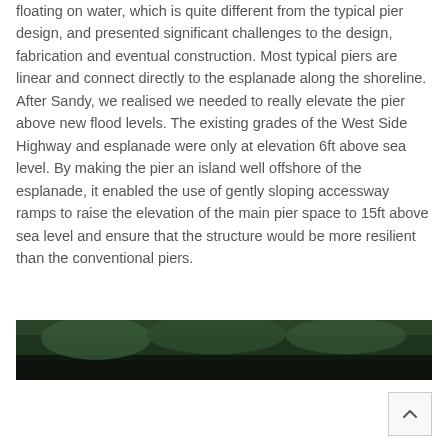floating on water, which is quite different from the typical pier design, and presented significant challenges to the design, fabrication and eventual construction. Most typical piers are linear and connect directly to the esplanade along the shoreline. After Sandy, we realised we needed to really elevate the pier above new flood levels. The existing grades of the West Side Highway and esplanade were only at elevation 6ft above sea level. By making the pier an island well offshore of the esplanade, it enabled the use of gently sloping accessway ramps to raise the elevation of the main pier space to 15ft above sea level and ensure that the structure would be more resilient than the conventional piers.
[Figure (photo): A dark photograph showing what appears to be a waterfront or pier area with green foliage/trees visible, taken at dusk or in low light conditions.]